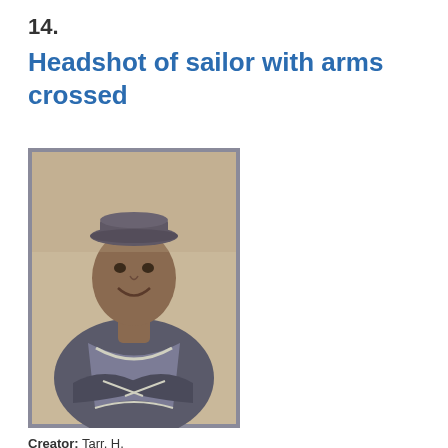14.
Headshot of sailor with arms crossed
[Figure (photo): Vintage black-and-white photograph of a young Black sailor in uniform with arms crossed, wearing a sailor cap, from WWII era]
Creator: Tarr, H.
Date: unknown